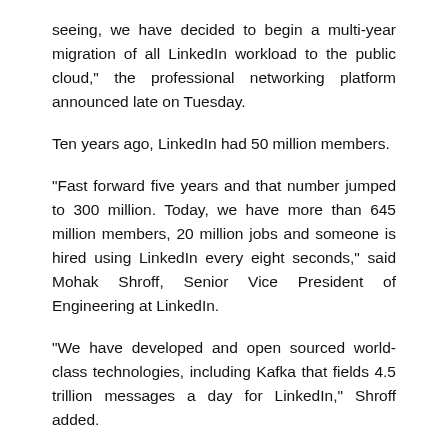seeing, we have decided to begin a multi-year migration of all LinkedIn workload to the public cloud," the professional networking platform announced late on Tuesday.
Ten years ago, LinkedIn had 50 million members.
"Fast forward five years and that number jumped to 300 million. Today, we have more than 645 million members, 20 million jobs and someone is hired using LinkedIn every eight seconds," said Mohak Shroff, Senior Vice President of Engineering at LinkedIn.
"We have developed and open sourced world-class technologies, including Kafka that fields 4.5 trillion messages a day for LinkedIn," Shroff added.
In Microsoft's fourth quarter (that ended June 30) results, LinkedIn revenue increased 25 per cent, with record levels of engagement highlighted by LinkedIn sessions growth of 22 per